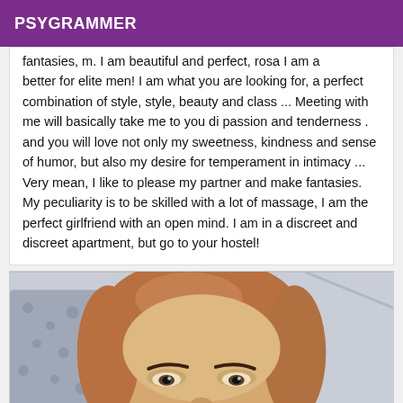PSYGRAMMER
fantasies, m. I am beautiful and perfect, rosa I am a better for elite men! I am what you are looking for, a perfect combination of style, style, beauty and class ... Meeting with me will basically take me to you di passion and tenderness . and you will love not only my sweetness, kindness and sense of humor, but also my desire for temperament in intimacy ... Very mean, I like to please my partner and make fantasies. My peculiarity is to be skilled with a lot of massage, I am the perfect girlfriend with an open mind. I am in a discreet and discreet apartment, but go to your hostel!
[Figure (photo): Close-up photo of a woman's face with reddish-brown hair, looking slightly downward, taken in an indoor setting with a patterned pillow visible in the background.]